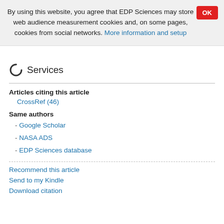By using this website, you agree that EDP Sciences may store web audience measurement cookies and, on some pages, cookies from social networks. More information and setup
Services
Articles citing this article
CrossRef (46)
Same authors
- Google Scholar
- NASA ADS
- EDP Sciences database
Recommend this article
Send to my Kindle
Download citation